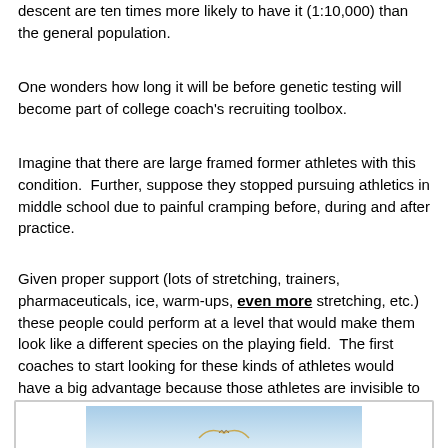descent are ten times more likely to have it (1:10,000) than the general population.
One wonders how long it will be before genetic testing will become part of college coach's recruiting toolbox.
Imagine that there are large framed former athletes with this condition.  Further, suppose they stopped pursuing athletics in middle school due to painful cramping before, during and after practice.
Given proper support (lots of stretching, trainers, pharmaceuticals, ice, warm-ups, even more stretching, etc.) these people could perform at a level that would make them look like a different species on the playing field.  The first coaches to start looking for these kinds of athletes would have a big advantage because those athletes are invisible to competing coaches.
[Figure (photo): Photo of a bird (appears to be a seagull or similar bird) against a light blue sky/water background, framed with a dark blue border.]